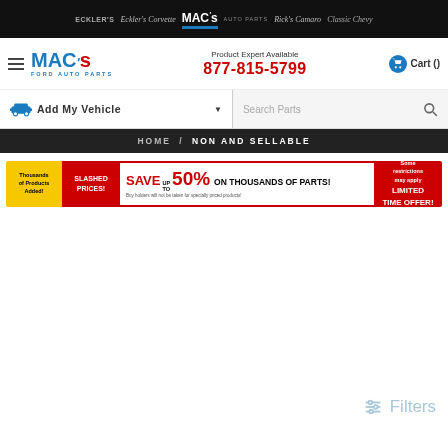ECKLER'S | Eckler's Corvette | MAC's AUTO PARTS | Rick's Camaro | Classic Chevy
[Figure (logo): MAC's Ford Auto Parts logo with blue text]
Product Expert Available 877-815-5799
Cart ()
Add My Vehicle
Search Parts
HOME / NON AND SELLABLE
[Figure (infographic): Promotional banner: Thousands of Products Added! SLASHED PRICES! SAVE up to 50% ON THOUSANDS OF PARTS! Some restrictions may apply. LIMITED TIME OFFER!]